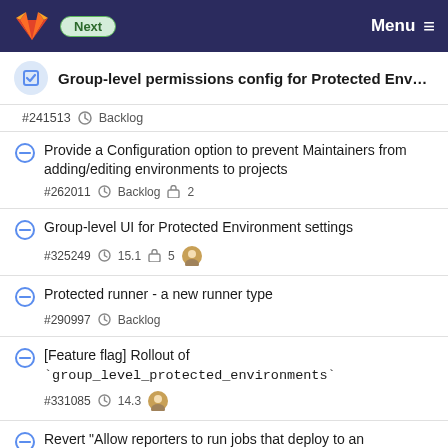Next  Menu
Group-level permissions config for Protected Environ...
#241513  Backlog
Provide a Configuration option to prevent Maintainers from adding/editing environments to projects
#262011  Backlog  2
Group-level UI for Protected Environment settings
#325249  15.1  5
Protected runner - a new runner type
#290997  Backlog
[Feature flag] Rollout of `group_level_protected_environments`
#331085  14.3
Revert "Allow reporters to run jobs that deploy to an environments if they are explicitly listed"
#326447  Backlog  1  Jun 30, 2021